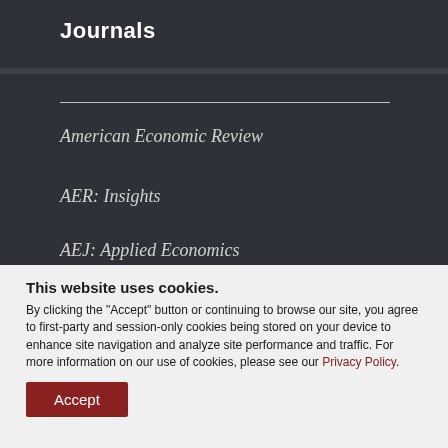Journals
American Economic Review
AER: Insights
AEJ: Applied Economics
This website uses cookies.
By clicking the "Accept" button or continuing to browse our site, you agree to first-party and session-only cookies being stored on your device to enhance site navigation and analyze site performance and traffic. For more information on our use of cookies, please see our Privacy Policy.
Accept
Journal of Economic Literature
Journal of Economic Perspectives